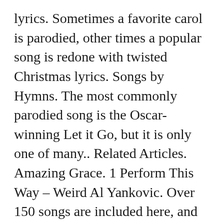lyrics. Sometimes a favorite carol is parodied, other times a popular song is redone with twisted Christmas lyrics. Songs by Hymns. The most commonly parodied song is the Oscar-winning Let it Go, but it is only one of many.. Related Articles. Amazing Grace. 1 Perform This Way – Weird Al Yankovic. Over 150 songs are included here, and the list is ever-growing! This section contains the various song parodies submitted to amIright since the year 2000. Bringing In The Sheaves. Fanfiction Historical Poetry Camp Half Blood Song Parodies ... Popular Songs I was just listening to my tunes while reading one of the newest books in the Percy Jackson series when I started the think up some funny lyrics for the songs I was